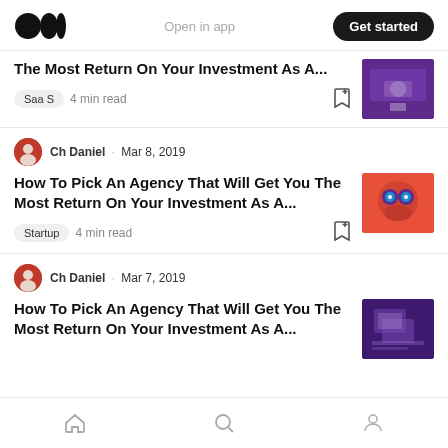Medium logo | Open in app | Get started
The Most Return On Your Investment As A...
Saa S · 4 min read
Ch Daniel · Mar 8, 2019
How To Pick An Agency That Will Get You The Most Return On Your Investment As A...
Startup · 4 min read
Ch Daniel · Mar 7, 2019
How To Pick An Agency That Will Get You The Most Return On Your Investment As A...